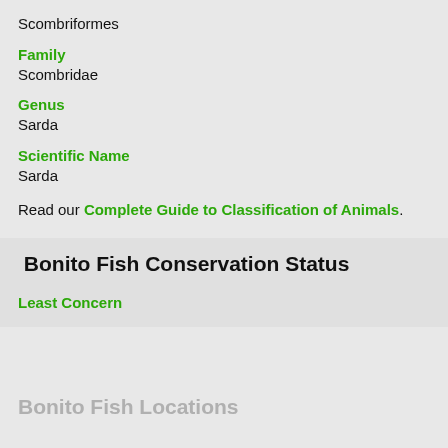Scombriformes
Family
Scombridae
Genus
Sarda
Scientific Name
Sarda
Read our Complete Guide to Classification of Animals.
Bonito Fish Conservation Status
Least Concern
Bonito Fish Locations